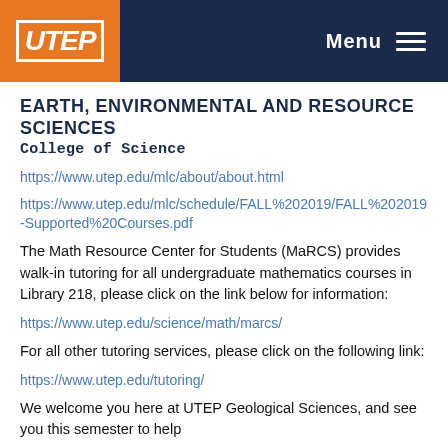UTEP - Menu
EARTH, ENVIRONMENTAL AND RESOURCE SCIENCES
College of Science
https://www.utep.edu/mlc/about/about.html
https://www.utep.edu/mlc/schedule/FALL%202019/FALL%202019-Supported%20Courses.pdf
The Math Resource Center for Students (MaRCS) provides walk-in tutoring for all undergraduate mathematics courses in Library 218, please click on the link below for information:
https://www.utep.edu/science/math/marcs/
For all other tutoring services, please click on the following link:
https://www.utep.edu/tutoring/
We welcome you here at UTEP Geological Sciences, and see you this semester to help...